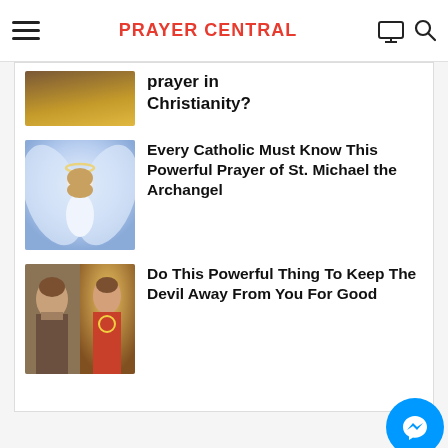PRAYER CENTRAL
[Figure (photo): Partial thumbnail of a person praying with golden light background]
prayer in Christianity?
[Figure (illustration): Angelic figure with wings glowing in soft blue/white light]
Every Catholic Must Know This Powerful Prayer of St. Michael the Archangel
[Figure (photo): Two images of Jesus side by side - one realistic portrait and one Sacred Heart illustration]
Do This Powerful Thing To Keep The Devil Away From You For Good